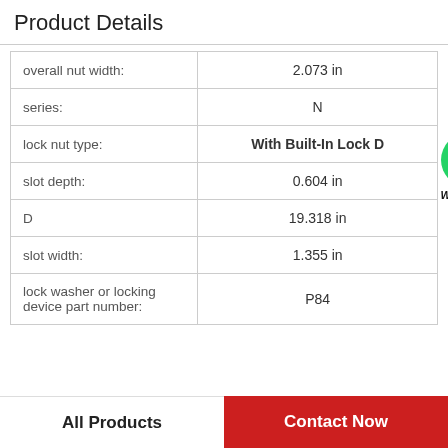Product Details
| Property | Value |
| --- | --- |
| overall nut width: | 2.073 in |
| series: | N |
| lock nut type: | With Built-In Lock D |
| slot depth: | 0.604 in |
| D | 19.318 in |
| slot width: | 1.355 in |
| lock washer or locking device part number: | P84 |
[Figure (logo): WhatsApp Online green logo with text 'WhatsApp Online']
All Products
Contact Now